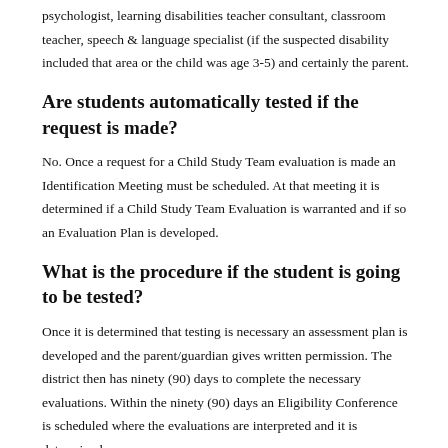psychologist, learning disabilities teacher consultant, classroom teacher, speech & language specialist (if the suspected disability included that area or the child was age 3-5) and certainly the parent.
Are students automatically tested if the request is made?
No. Once a request for a Child Study Team evaluation is made an Identification Meeting must be scheduled. At that meeting it is determined if a Child Study Team Evaluation is warranted and if so an Evaluation Plan is developed.
What is the procedure if the student is going to be tested?
Once it is determined that testing is necessary an assessment plan is developed and the parent/guardian gives written permission. The district then has ninety (90) days to complete the necessary evaluations. Within the ninety (90) days an Eligibility Conference is scheduled where the evaluations are interpreted and it is determined